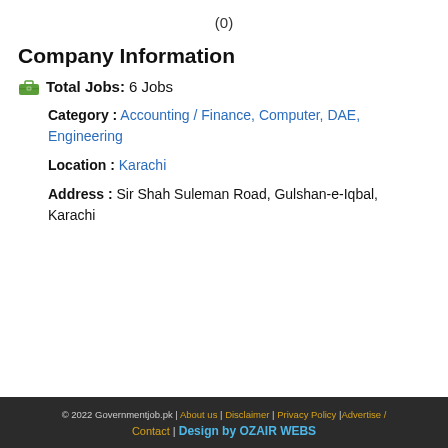(0)
Company Information
Total Jobs: 6 Jobs
Category : Accounting / Finance, Computer, DAE, Engineering
Location : Karachi
Address : Sir Shah Suleman Road, Gulshan-e-Iqbal, Karachi
© 2022 Governmentjob.pk | About us | Disclaimer | Privacy Policy | Advertise / Contact | Design by OZAIR WEBS